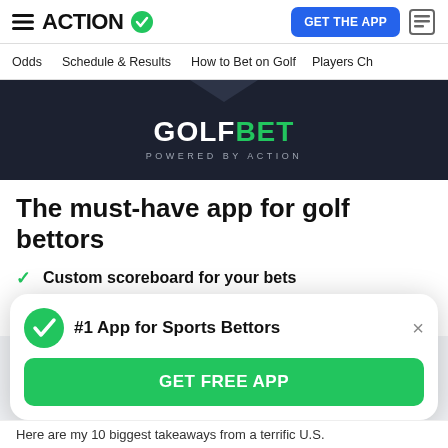ACTION — GET THE APP
Odds | Schedule & Results | How to Bet on Golf | Players Ch
[Figure (logo): GolfBet powered by Action dark banner with white GOLF and green BET text and shirt collar graphic]
The must-have app for golf bettors
Custom scoreboard for your bets
Free picks from experts
#1 App for Sports Bettors
GET FREE APP
Here are my 10 biggest takeaways from a terrific U.S.